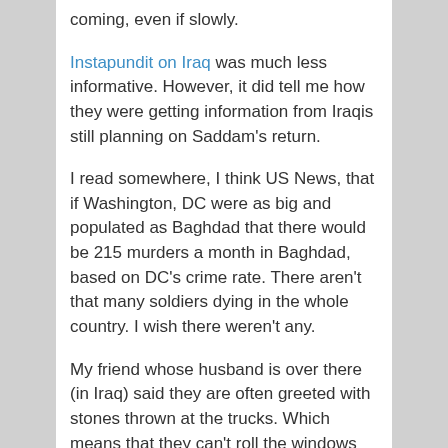coming, even if slowly.
Instapundit on Iraq was much less informative. However, it did tell me how they were getting information from Iraqis still planning on Saddam's return.
I read somewhere, I think US News, that if Washington, DC were as big and populated as Baghdad that there would be 215 murders a month in Baghdad, based on DC's crime rate. There aren't that many soldiers dying in the whole country. I wish there weren't any.
My friend whose husband is over there (in Iraq) said they are often greeted with stones thrown at the trucks. Which means that they can't roll the windows down and have to sit with them up inside vehicles with no a/c. They have to drive with a military person in a military vehicle. It isn't safe, yet, for an American to drive alone. I hope it will be soon.
Posted in United States